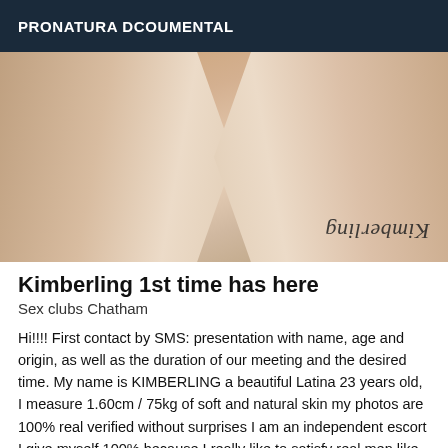PRONATURA DCOUMENTAL
[Figure (photo): Close-up blurred photo showing draped fabric/clothing with a cursive watermark text reading 'Kimberling' displayed upside down in the lower right corner.]
Kimberling 1st time has here
Sex clubs Chatham
Hi!!!! First contact by SMS: presentation with name, age and origin, as well as the duration of our meeting and the desired time. My name is KIMBERLING a beautiful Latina 23 years old, I measure 1.60cm / 75kg of soft and natural skin my photos are 100% real verified without surprises I am an independent escort I give myself 100% because I really like to satisfy real men like you, who just